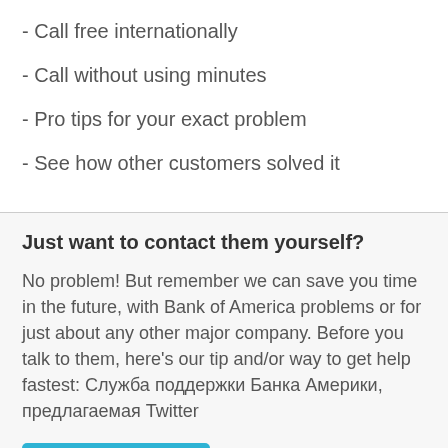- Call free internationally
- Call without using minutes
- Pro tips for your exact problem
- See how other customers solved it
Just want to contact them yourself?
No problem! But remember we can save you time in the future, with Bank of America problems or for just about any other major company. Before you talk to them, here's our tip and/or way to get help fastest: Служба поддержки Банка Америки, предлагаемая Twitter